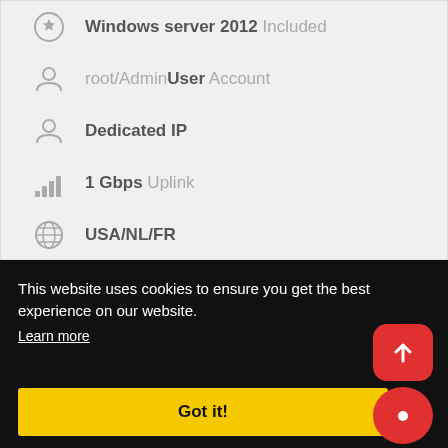Windows server 2012 Included
root/AdminUser Account
Dedicated IP
1 Gbps Uplink
USA/NL/FR
This website uses cookies to ensure you get the best experience on our website.
Learn more
Got it!